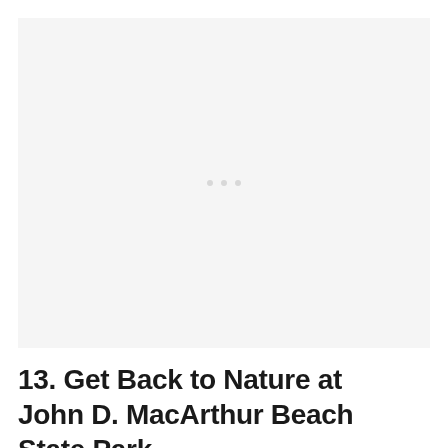[Figure (photo): Placeholder image area with light gray background and three small gray dots centered, indicating an image loading or unavailable state]
13. Get Back to Nature at John D. MacArthur Beach State Park